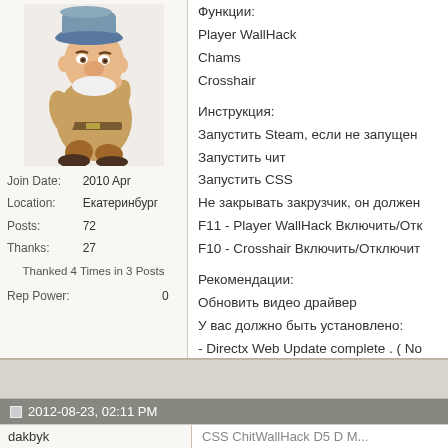[Figure (illustration): Cartoon dwarf character (Grumpy from Snow White), seated, wearing grey hat and brown clothes]
Join Date: 2010 Apr
Location: Екатеринбург
Posts: 72
Thanks: 27
Thanked 4 Times in 3 Posts
Rep Power: 0
Функции:
Player WallHack
Chams
Crosshair

Инструкция:
Запустить Steam, если не запущен
Запустить чит
Запустить CSS
Не закрывать закрузчик, он должен
F11 - Player WallHack Включить/Отк
F10 - Crosshair Включить/Отключит

Рекомендации:
Обновить видео драйвер
У вас должно быть установлено:
- Directx Web Update complete . ( No
- C++ 2005 Redistributable
- C++ 2008 Redistributable
- C++ 2010 Redistributable
- .Net framework 3.5
- .Net framework 4.0

Тестилось на Vista / Windows 7 32/6
2012-08-23, 02:11 PM
dakbyk